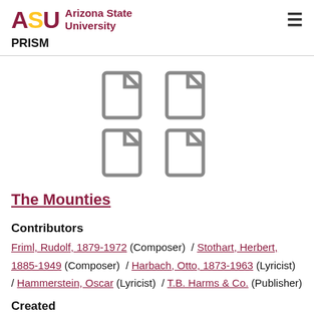ASU Arizona State University PRISM
[Figure (illustration): Four document/file icons arranged in a 2x2 grid, gray outline style]
The Mounties
Contributors
Friml, Rudolf, 1879-1972 (Composer) / Stothart, Herbert, 1885-1949 (Composer) / Harbach, Otto, 1873-1963 (Lyricist) / Hammerstein, Oscar (Lyricist) / T.B. Harms & Co. (Publisher)
Created